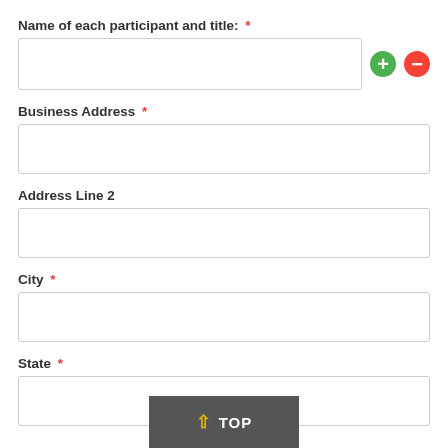Name of each participant and title: *
Business Address *
Address Line 2
City *
State *